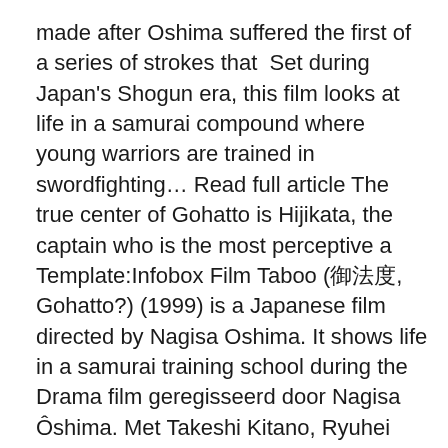made after Oshima suffered the first of a series of strokes that  Set during Japan's Shogun era, this film looks at life in a samurai compound where young warriors are trained in swordfighting… Read full article The true center of Gohatto is Hijikata, the captain who is the most perceptive a Template:Infobox Film Taboo (御法度, Gohatto?) (1999) is a Japanese film directed by Nagisa Oshima. It shows life in a samurai training school during the Drama film geregisseerd door Nagisa Ôshima. Met Takeshi Kitano, Ryuhei Matsuda en Shinji Takeda. Discussion on "Oshima's Gohatto (Taboo)" at the Akira Kurosawa community forums. The reason the manga reminded Vili of the movie is that in the first away with the shogunate and restoring the emperor to full power.